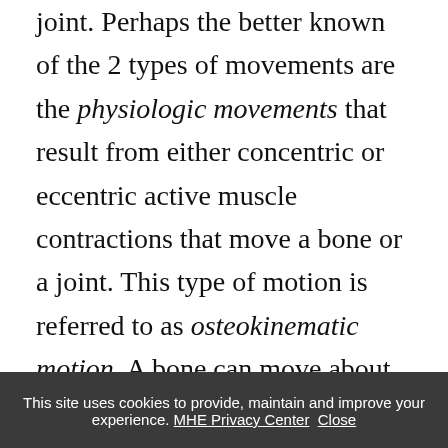joint. Perhaps the better known of the 2 types of movements are the physiologic movements that result from either concentric or eccentric active muscle contractions that move a bone or a joint. This type of motion is referred to as osteokinematic motion. A bone can move about an axis of rotation, or a joint into flexion, extension, abduction, adduction, and rotation. The second type of motion is accessory motion. Accessory motions refer to the manner in which one articulating joint surface
This site uses cookies to provide, maintain and improve your experience. MHE Privacy Center Close